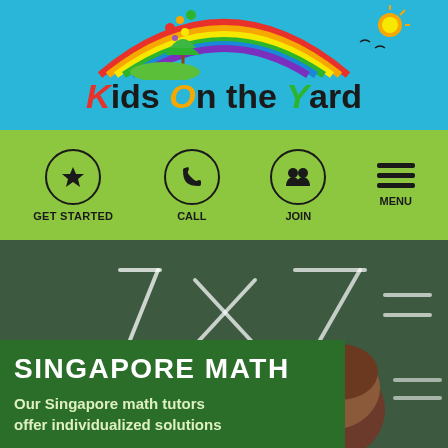[Figure (logo): Kids on the Yard logo with rainbow, colorful tree, and stylized text on light blue background]
Kids on the Yard
GET STARTED
CALL
JOIN
MENU
[Figure (photo): Child looking at chalkboard with 7 x 7 = written in chalk]
SINGAPORE MATH
Our Singapore math tutors offer individualized solutions